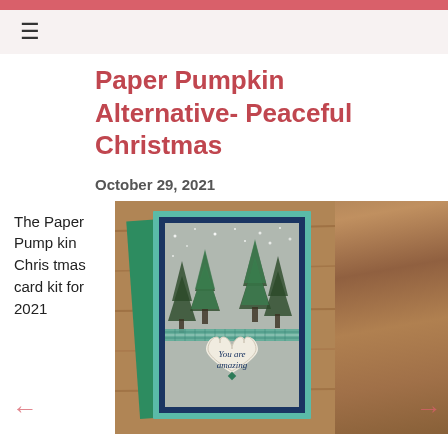Paper Pumpkin Alternative- Peaceful Christmas
October 29, 2021
The Paper Pumpkin Christmas card kit for 2021
[Figure (photo): A handmade Christmas card featuring snowy pine trees scene with a heart embellishment reading 'You are amazing', navy blue border, mint/teal cardstock, placed on a wood surface with a green envelope behind it.]